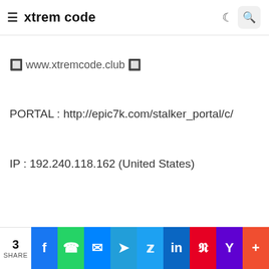xtrem code
🔲 www.xtremcode.club 🔲
PORTAL : http://epic7k.com/stalker_portal/c/
IP : 192.240.118.162 (United States)
3 SHARE | Facebook | WhatsApp | Messenger | Telegram | Twitter | LinkedIn | Pinterest | Yahoo | More